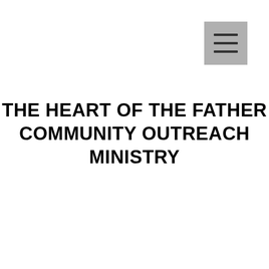[Figure (other): Hamburger menu icon: grey square button with three horizontal dark lines]
THE HEART OF THE FATHER COMMUNITY OUTREACH MINISTRY